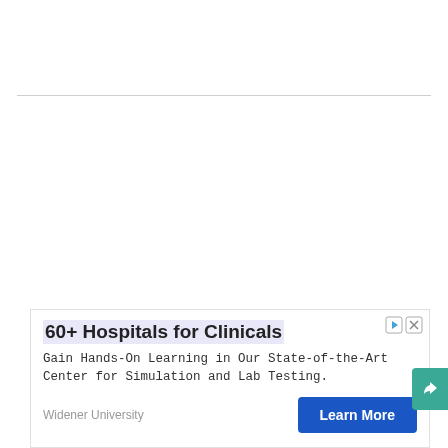[Figure (screenshot): Horizontal divider line across the page around 95px from top]
[Figure (infographic): Advertisement box for Widener University. Contains title '60+ Hospitals for Clinicals', body text 'Gain Hands-On Learning in Our State-of-the-Art Center for Simulation and Lab Testing.', sponsor name 'Widener University', and a 'Learn More' button. Ad controls (play icon and X) appear in top-right of ad box.]